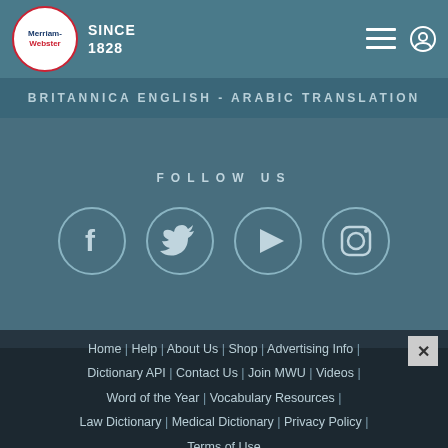Merriam-Webster SINCE 1828
BRITANNICA ENGLISH - ARABIC TRANSLATION
FOLLOW US
[Figure (other): Social media icons in circles: Facebook, Twitter, YouTube/Play, Instagram]
Browse the Dictionary: A B C D E F G H I J K L M N O P Q R S T U V W X Y Z 0-9 BIO GEO
Home | Help | About Us | Shop | Advertising Info | Dictionary API | Contact Us | Join MWU | Videos | Word of the Year | Vocabulary Resources | Law Dictionary | Medical Dictionary | Privacy Policy | Terms of Use